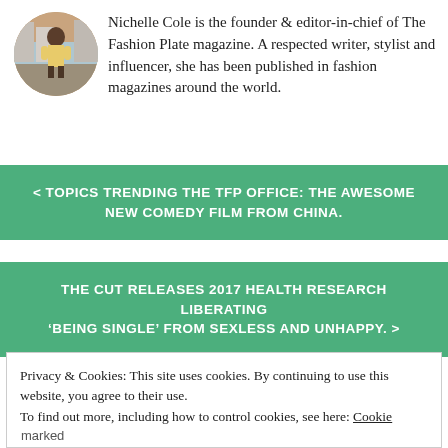[Figure (photo): Circular avatar photo of a person wearing yellow, standing outdoors on a street]
Nichelle Cole is the founder & editor-in-chief of The Fashion Plate magazine. A respected writer, stylist and influencer, she has been published in fashion magazines around the world.
< TOPICS TRENDING THE TFP OFFICE: THE AWESOME NEW COMEDY FILM FROM CHINA.
THE CUT RELEASES 2017 HEALTH RESEARCH LIBERATING 'BEING SINGLE' FROM SEXLESS AND UNHAPPY. >
Privacy & Cookies: This site uses cookies. By continuing to use this website, you agree to their use.
To find out more, including how to control cookies, see here: Cookie Policy
Close and accept
marked